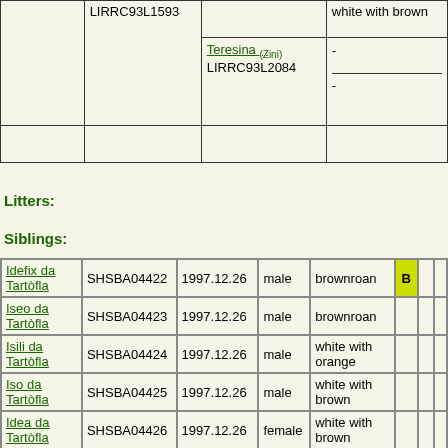|  | LIRRC93L1593 |  | white with brown |
|  |  | Teresina (Zini) LIRRC93L2084 | - |
|  |  |  | - |
Litters:
Siblings:
| Idefix da Tartòfla | SHSBA04422 | 1997.12.26 | male | brownroan | B |  |  |
| Iseo da Tartòfla | SHSBA04423 | 1997.12.26 | male | brownroan |  |  |  |
| Isili da Tartòfla | SHSBA04424 | 1997.12.26 | male | white with orange |  |  |  |
| Iso da Tartòfla | SHSBA04425 | 1997.12.26 | male | white with brown |  |  |  |
| Idea da Tartòfla | SHSBA04426 | 1997.12.26 | female | white with brown |  |  |  |
| Ileana da Tartòfla | SHSBA04427 | 1997.12.26 | female | brownroan |  |  |  |